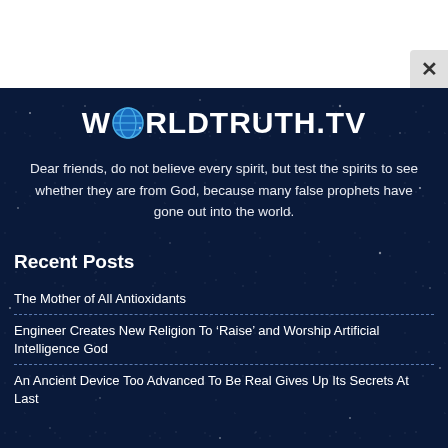[Figure (logo): WorldTruth.TV logo with globe icon replacing the O in WORLD, white bold text on dark navy background]
Dear friends, do not believe every spirit, but test the spirits to see whether they are from God, because many false prophets have gone out into the world.
Recent Posts
The Mother of All Antioxidants
Engineer Creates New Religion To 'Raise' and Worship Artificial Intelligence God
An Ancient Device Too Advanced To Be Real Gives Up Its Secrets At Last